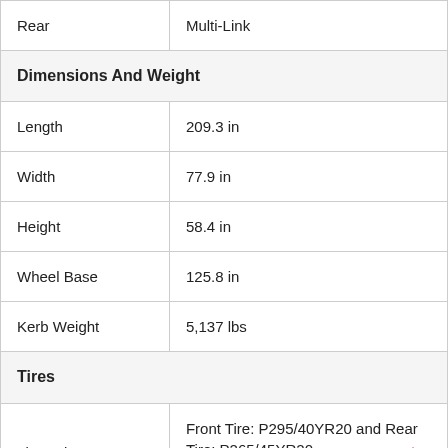| Rear | Multi-Link |
| Dimensions And Weight |  |
| Length | 209.3 in |
| Width | 77.9 in |
| Height | 58.4 in |
| Wheel Base | 125.8 in |
| Kerb Weight | 5,137 lbs |
| Tires |  |
| Tires Size | Front Tire: P295/40YR20 and Rear Tire: P265/45YR20 |
| Wheel Size | Front Wheel: 20 in x 9.5 in and Rear |